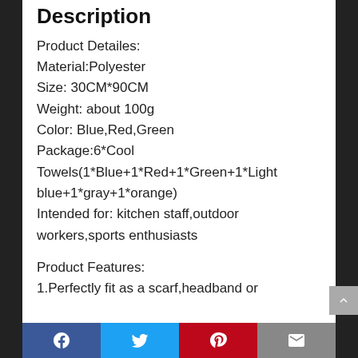Description
Product Detailes:
Material:Polyester
Size: 30CM*90CM
Weight: about 100g
Color: Blue,Red,Green
Package:6*Cool Towels(1*Blue+1*Red+1*Green+1*Light blue+1*gray+1*orange)
Intended for: kitchen staff,outdoor workers,sports enthusiasts
Product Features:
1.Perfectly fit as a scarf,headband or